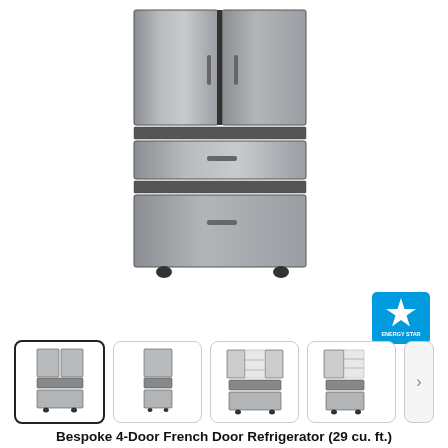[Figure (photo): Front view of Samsung Bespoke 4-Door French Door Refrigerator in stainless steel finish]
[Figure (logo): ENERGY STAR certification logo]
[Figure (photo): Thumbnail 1 (selected): Front view of refrigerator]
[Figure (photo): Thumbnail 2: Side/angled view of refrigerator]
[Figure (photo): Thumbnail 3: Open doors front view of refrigerator interior]
[Figure (photo): Thumbnail 4: Open door side view of refrigerator interior]
Bespoke 4-Door French Door Refrigerator (29 cu. ft.)